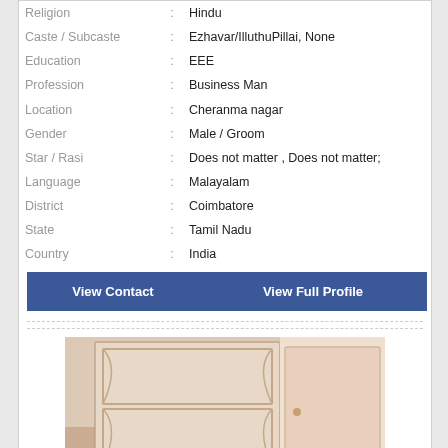| Religion | : | Hindu |
| Caste / Subcaste | : | Ezhavar/IlluthuPillai, None |
| Education | : | EEE |
| Profession | : | Business Man |
| Location | : | Cheranma nagar |
| Gender | : | Male / Groom |
| Star / Rasi | : | Does not matter , Does not matter; |
| Language | : | Malayalam |
| District | : | Coimbatore |
| State | : | Tamil Nadu |
| Country | : | India |
View Contact
View Full Profile
[Figure (photo): Partial photo of a person near a door/cabinet, showing light wood furniture in the background]